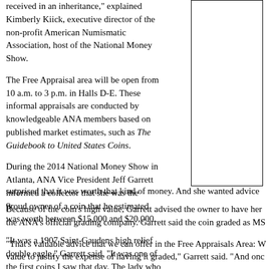received in an inheritance," explained Kimberly Kiick, executive director of the non-profit American Numismatic Association, host of the National Money Show.
The Free Appraisal area will be open from 10 a.m. to 3 p.m. in Halls D-E. These informal appraisals are conducted by knowledgeable ANA members based on published market estimates, such as The Guidebook to United States Coins.
During the 2014 National Money Show in Atlanta, ANA Vice President Jeff Garrett informed a collector that she was the proud owner of a coin that he estimated was worth between $15,000 and $20,000.
"It was a 1907 Saint-Gaudens high relief double eagle," Garrett said. "It was one of the first coins I saw that day. The lady who brought it in was surprised that it was worth that kind of money. And she wanted advice o
Because of the coin's high value, Garrett advised the owner to have her the ANA's official grading company. Garrett said the coin graded as MS
"That's valuable advice that we can offer in the Free Appraisals Area: W value to justify the expense of having it graded," Garrett said. "And onc